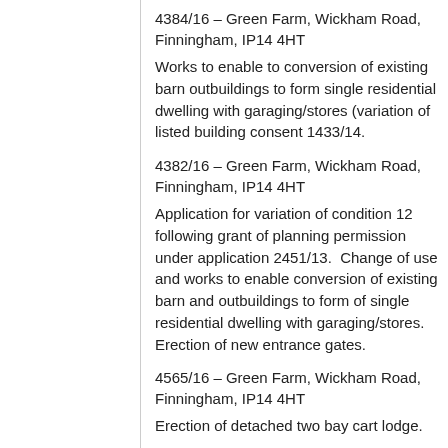4384/16 – Green Farm, Wickham Road, Finningham, IP14 4HT
Works to enable to conversion of existing barn outbuildings to form single residential dwelling with garaging/stores (variation of listed building consent 1433/14.
4382/16 – Green Farm, Wickham Road, Finningham, IP14 4HT
Application for variation of condition 12 following grant of planning permission under application 2451/13.  Change of use and works to enable conversion of existing barn and outbuildings to form of single residential dwelling with garaging/stores. Erection of new entrance gates.
4565/16 – Green Farm, Wickham Road, Finningham, IP14 4HT
Erection of detached two bay cart lodge.
4943/16 – The Old Bakery, Gislingham Road, Finningham, IP14 4HZ